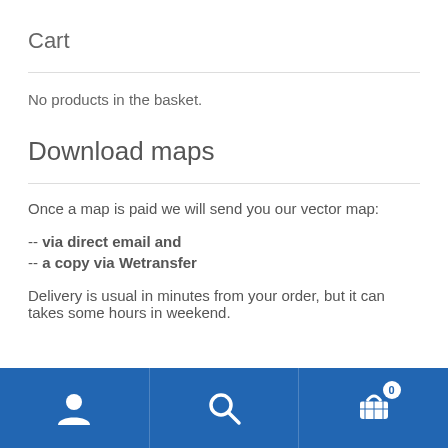Cart
No products in the basket.
Download maps
Once a map is paid we will send you our vector map:
-- via direct email and
-- a copy via Wetransfer
Delivery is usual in minutes from your order, but it can takes some hours in weekend.
[Figure (other): Bottom navigation bar with user icon, search icon, and cart icon with badge showing 0]